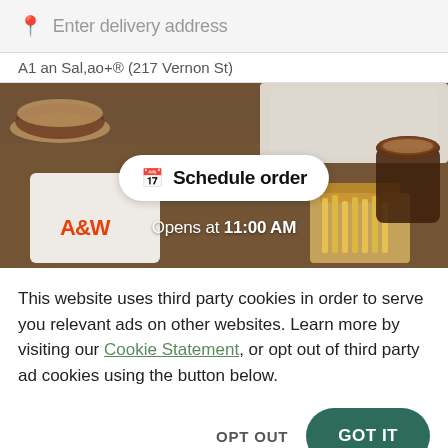Enter delivery address
A1 an Sal,ao+® (217 Vernon St)
[Figure (photo): A restaurant food photo showing an overhead view of a wooden table with A&W branded packaging, a burger, fries, and a drink. Overlaid with a white pill-shaped button reading 'Schedule order' and text 'Opens at 11:00 AM'.]
This website uses third party cookies in order to serve you relevant ads on other websites. Learn more by visiting our Cookie Statement, or opt out of third party ad cookies using the button below.
OPT OUT
GOT IT